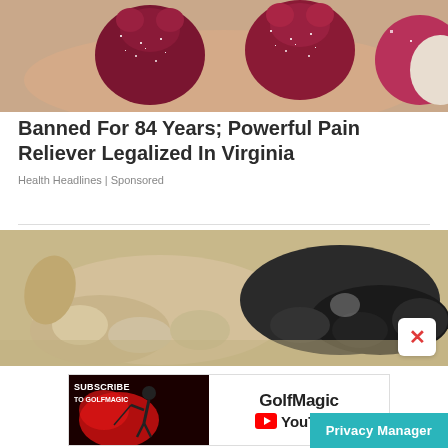[Figure (photo): Close-up photo of dark red/maroon gummy bear candies covered in sugar crystals, held in a hand]
Banned For 84 Years; Powerful Pain Reliever Legalized In Virginia
Health Headlines | Sponsored
[Figure (photo): Close-up photo of puppies sleeping, showing a light-colored puppy and a black puppy curled together]
[Figure (screenshot): GolfMagic YouTube subscription advertisement banner with red background on left showing golfer silhouette with text SUBSCRIBE TO GOLFMAGIC, and white right side with GolfMagic YouTube logo]
Privacy Manager